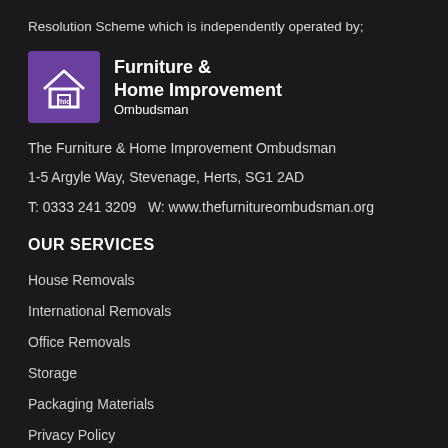Resolution Scheme which is independently operated by;
[Figure (logo): Furniture & Home Improvement Ombudsman logo — purple square with 'fhio' icon on left, bold text 'Furniture & Home Improvement Ombudsman' on right]
The Furniture & Home Improvement Ombudsman
1-5 Argyle Way, Stevenage, Herts, SG1 2AD
T: 0333 241 3209   W: www.thefurnitureombudsman.org
OUR SERVICES
House Removals
International Removals
Office Removals
Storage
Packaging Materials
Privacy Policy
Cookie Policy